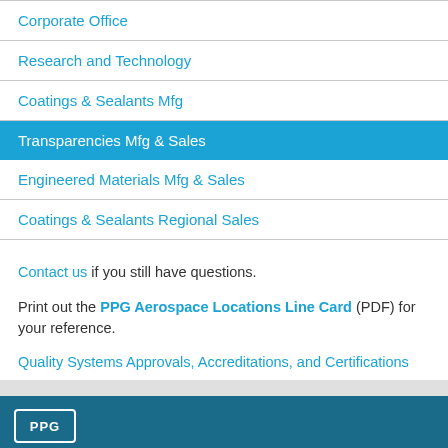Corporate Office
Research and Technology
Coatings & Sealants Mfg
Transparencies Mfg & Sales
Engineered Materials Mfg & Sales
Coatings & Sealants Regional Sales
Contact us if you still have questions.
Print out the PPG Aerospace Locations Line Card (PDF) for your reference.
Quality Systems Approvals, Accreditations, and Certifications
PPG footer bar